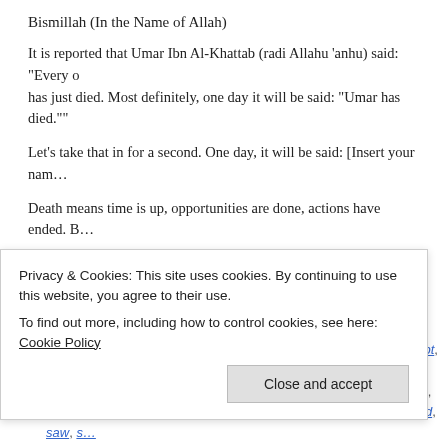Bismillah (In the Name of Allah)
It is reported that Umar Ibn Al-Khattab (radi Allahu ‘anhu) said: “Every one has just died. Most definitely, one day it will be said: “Umar has died.””
Let’s take that in for a second. One day, it will be said: [Insert your nam…
Death means time is up, opportunities are done, actions have ended. B…
READ THE REST OF THIS ENTRY →
Posted in ARTICLES
Tags: actions, article, beneficial, bismillah, death, Education, except, Had… heart, islam, islamic article, knowledge, learn, Learning, muslims, opportunities, path, pbuh, peace, pray, prophet muhammad, read, saw, s…
Privacy & Cookies: This site uses cookies. By continuing to use this website, you agree to their use. To find out more, including how to control cookies, see here: Cookie Policy
Close and accept